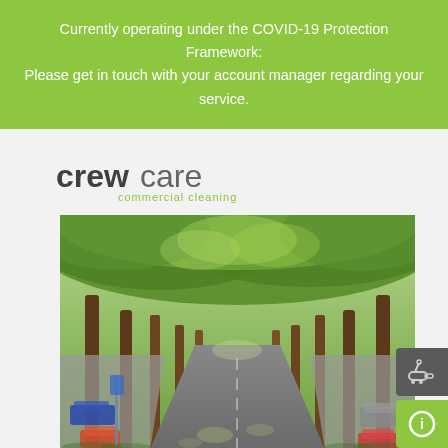Currently operating under the COVID-19 Protection Framework: Please get in touch with your account manager regarding your service.
[Figure (logo): CrewCare commercial cleaning logo — 'crew' in dark bold sans-serif, 'care' in lighter sans-serif, 'commercial cleaning' in green smaller text below]
[Figure (photo): Street lined with large leafy green plane trees forming a canopy tunnel over the road, cars parked on the sides, sunny day]